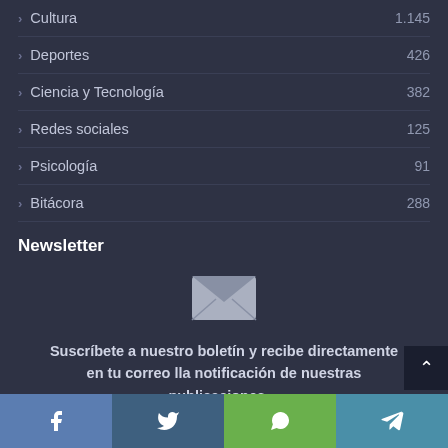Cultura 1.145
Deportes 426
Ciencia y Tecnología 382
Redes sociales 125
Psicología 91
Bitácora 288
Newsletter
[Figure (illustration): Envelope / mail icon in light gray]
Suscríbete a nuestro boletín y recibe directamente en tu correo lla notificación de nuestras publicaciones…
Facebook | Twitter | WhatsApp | Telegram share buttons